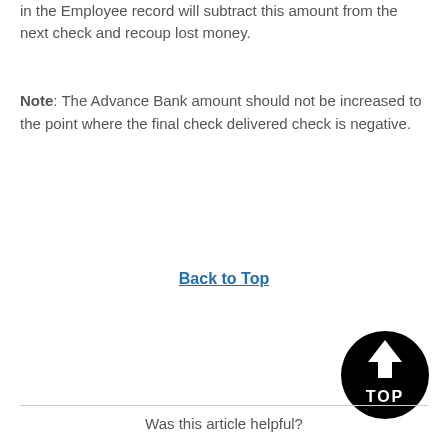in the Employee record will subtract this amount from the next check and recoup lost money.
Note: The Advance Bank amount should not be increased to the point where the final check delivered check is negative.
Back to Top
[Figure (logo): Black and white circular logo with text TOP and an upward arrow symbol]
Was this article helpful?